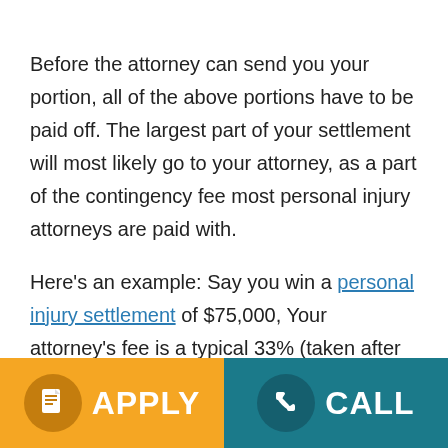Before the attorney can send you your portion, all of the above portions have to be paid off. The largest part of your settlement will most likely go to your attorney, as a part of the contingency fee most personal injury attorneys are paid with.

Here's an example: Say you win a personal injury settlement of $75,000, Your attorney's fee is a typical 33% (taken after court expenses), your medical expenses might be $20,000 and other expenses might be around $1,000. In that example, your net
[Figure (other): Footer bar with two buttons: APPLY (orange background, document icon) and CALL (teal background, phone icon)]